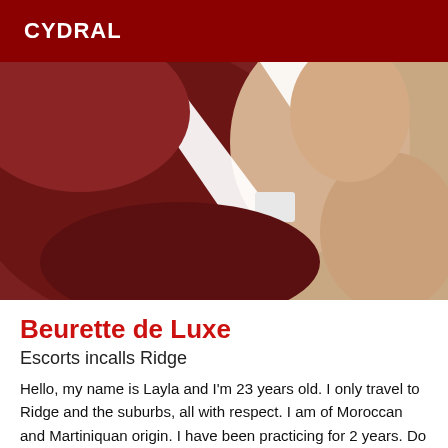CYDRAL
[Figure (photo): Close-up photo of a person wearing a white bra/swimsuit top against a dark reddish-maroon background]
Beurette de Luxe
Escorts incalls Ridge
Hello, my name is Layla and I'm 23 years old. I only travel to Ridge and the suburbs, all with respect. I am of Moroccan and Martiniquan origin. I have been practicing for 2 years. Do not hesitate to contact me. I prefer sms